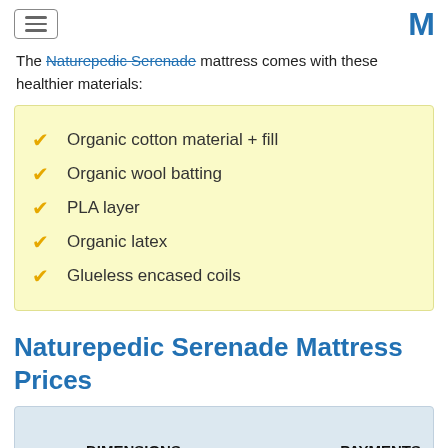[hamburger menu button] [M logo]
The Naturepedic Serenade mattress comes with these healthier materials:
Organic cotton material + fill
Organic wool batting
PLA layer
Organic latex
Glueless encased coils
Naturepedic Serenade Mattress Prices
| DIMENSIONS | PAYMENTS |
| --- | --- |